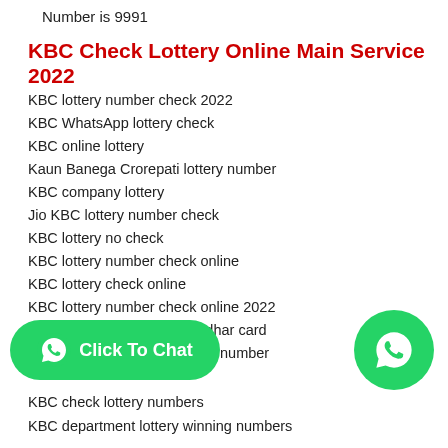Number is 9991
KBC Check Lottery Online Main Service 2022
KBC lottery number check 2022
KBC WhatsApp lottery check
KBC online lottery
Kaun Banega Crorepati lottery number
KBC company lottery
Jio KBC lottery number check
KBC lottery no check
KBC lottery number check online
KBC lottery check online
KBC lottery number check online 2022
Rana Pratap Singh KBC Aadhar card
number
[Figure (other): Green WhatsApp pill button with phone icon and text 'Click To Chat']
[Figure (other): Green WhatsApp circle icon on the right side]
KBC check lottery numbers
KBC department lottery winning numbers